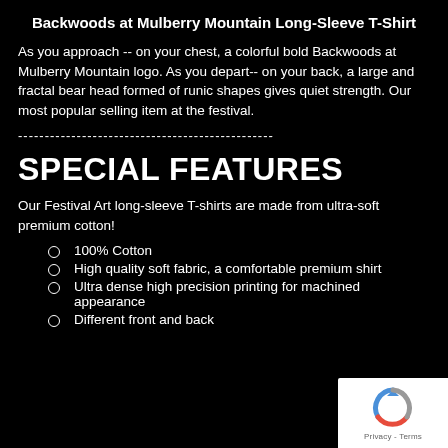Backwoods at Mulberry Mountain Long-Sleeve T-Shirt
As you approach -- on your chest, a colorful bold Backwoods at Mulberry Mountain logo. As you depart-- on your back, a large and fractal bear head formed of runic shapes gives quiet strength. Our most popular selling item at the festival.
SPECIAL FEATURES
Our Festival Art long-sleeve T-shirts are made from ultra-soft premium cotton!
100% Cotton
High quality soft fabric, a comfortable premium shirt
Ultra dense high precision printing for machined appearance
Different front and back
[Figure (logo): reCAPTCHA badge with circular arrow logo and Privacy - Terms text]